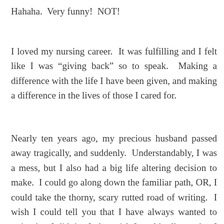Hahaha.  Very funny!  NOT!
I loved my nursing career.  It was fulfilling and I felt like I was “giving back” so to speak.  Making a difference with the life I have been given, and making a difference in the lives of those I cared for.
Nearly ten years ago, my precious husband passed away tragically, and suddenly.  Understandably, I was a mess, but I also had a big life altering decision to make.  I could go along down the familiar path, OR, I could take the thorny, scary rutted road of writing.  I wish I could tell you that I have always wanted to write, but I didn’t.  I also wish I could tell you that I had always written, but just